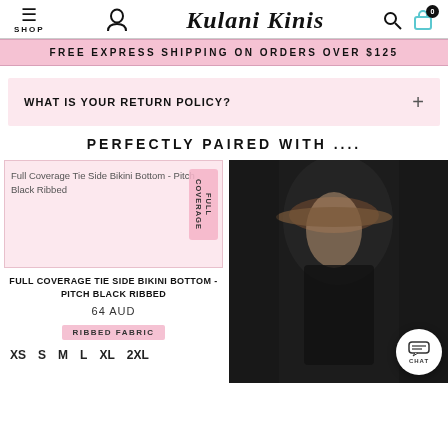Kulani Kinis — SHOP | navigation icons
FREE EXPRESS SHIPPING ON ORDERS OVER $125
WHAT IS YOUR RETURN POLICY?
PERFECTLY PAIRED WITH ....
[Figure (photo): Product image of Full Coverage Tie Side Bikini Bottom - Pitch Black Ribbed with pink FULL COVERAGE badge]
FULL COVERAGE TIE SIDE BIKINI BOTTOM - PITCH BLACK RIBBED
64 AUD
RIBBED FABRIC
XS  S  M  L  XL  2XL
[Figure (photo): Dark photo of a woman wearing a black bikini and wide-brim hat, viewed from behind]